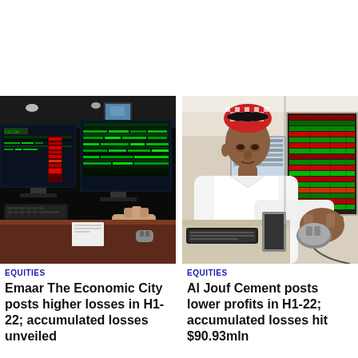[Figure (photo): Trading floor with multiple monitors displaying stock market data (green and red), person's hands on keyboard, dark room environment]
EQUITIES
Emaar The Economic City posts higher losses in H1-22; accumulated losses unveiled
[Figure (photo): Saudi trader in traditional white thobe and red-white checkered headdress using computer mouse, stock market screens visible in background]
EQUITIES
Al Jouf Cement posts lower profits in H1-22; accumulated losses hit $90.93mln